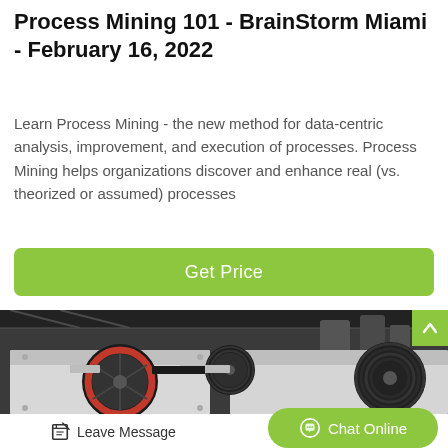Process Mining 101 - BrainStorm Miami - February 16, 2022
Learn Process Mining - the new method for data-centric analysis, improvement, and execution of processes. Process Mining helps organizations discover and enhance real (vs. theorized or assumed) processes
[Figure (other): Green button labeled 'Get Price']
[Figure (photo): Industrial mining machinery with large black and red wheels/pulleys inside a factory warehouse setting]
Leave Message
Chat Online